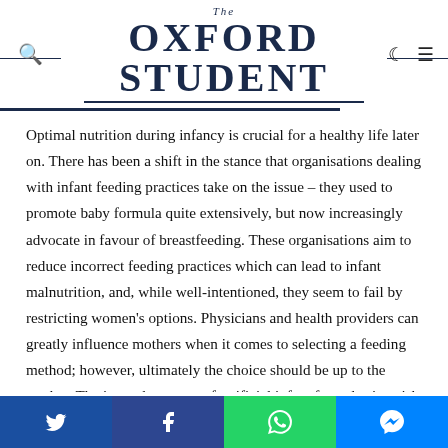The Oxford Student
Optimal nutrition during infancy is crucial for a healthy life later on. There has been a shift in the stance that organisations dealing with infant feeding practices take on the issue – they used to promote baby formula quite extensively, but now increasingly advocate in favour of breastfeeding. These organisations aim to reduce incorrect feeding practices which can lead to infant malnutrition, and, while well-intentioned, they seem to fail by restricting women's options. Physicians and health providers can greatly influence mothers when it comes to selecting a feeding method; however, ultimately the choice should be up to the mother. The immoderate use of artificial infant formulas is a risk factor in comparison to the multiple advantages of breastfeeding, but women should have the opportunity to decide what works best for
Social share bar: Twitter, Facebook, WhatsApp, Messenger